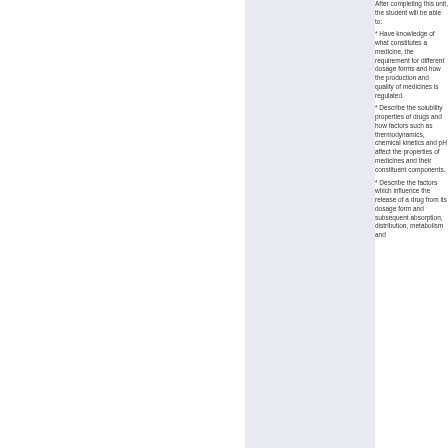After completing this unit, the student will be able to:
* Have knowledge of what constitutes a medicine, the requirement for different dosage forms and how the production and quality of medicines is regulated.
* Describe the solubility properties of drugs and how factors such as thermodynamics, chemical kinetics and pH affect the properties of medicines and their constituent components.
* Describe the factors which influence the release of a drug from its dosage form and subsequent absorption, distribution, metabolism and